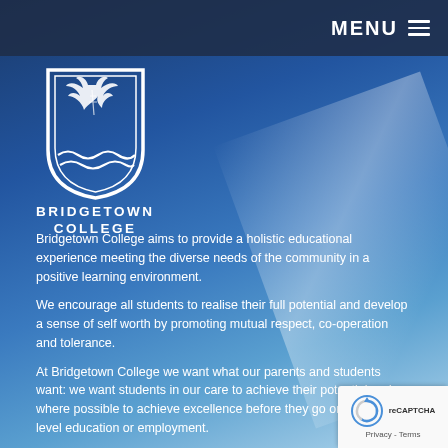MENU
[Figure (logo): Bridgetown College shield crest logo in white with a bird and wave motif]
BRIDGETOWN COLLEGE
Bridgetown College aims to provide a holistic educational experience meeting the diverse needs of the community in a positive learning environment.
We encourage all students to realise their full potential and develop a sense of self worth by promoting mutual respect, co-operation and tolerance.
At Bridgetown College we want what our parents and students want: we want students in our care to achieve their potential and, where possible to achieve excellence before they go on to third level education or employment.